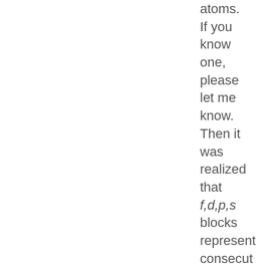atoms. If you know one, please let me know. Then it was realized that f,d,p,s blocks represent consecutive slices of the regular tetrahedr